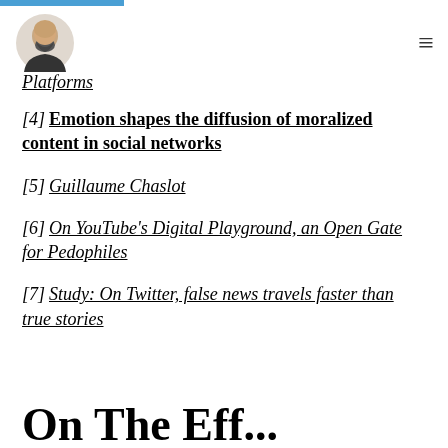Platforms
[4] Emotion shapes the diffusion of moralized content in social networks
[5] Guillaume Chaslot
[6] On YouTube's Digital Playground, an Open Gate for Pedophiles
[7] Study: On Twitter, false news travels faster than true stories
On The Eff...